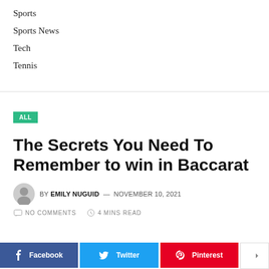Sports
Sports News
Tech
Tennis
ALL
The Secrets You Need To Remember to win in Baccarat
BY EMILY NUGUID — NOVEMBER 10, 2021
NO COMMENTS   4 MINS READ
Facebook   Twitter   Pinterest